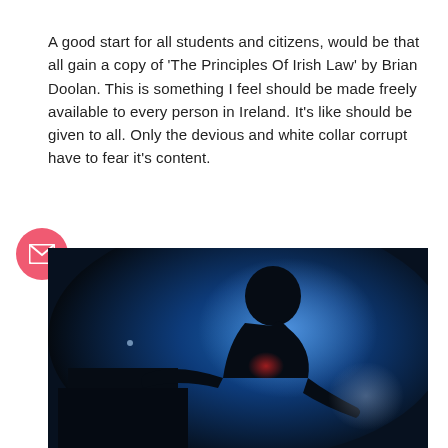A good start for all students and citizens, would be that all gain a copy of 'The Principles Of Irish Law' by Brian Doolan. This is something I feel should be made freely available to every person in Ireland. It's like should be given to all. Only the devious and white collar corrupt have to fear it's content.
[Figure (photo): A dark silhouette of a person leaning over what appears to be a DJ or music setup, illuminated by blue stage lighting, with a red light and a circular lens flare visible in the background.]